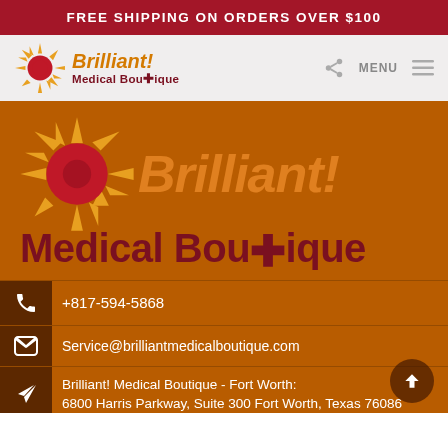FREE SHIPPING ON ORDERS OVER $100
[Figure (logo): Brilliant! Medical Boutique logo with sun graphic, navigation icons and MENU text]
[Figure (logo): Large Brilliant! Medical Boutique logo with sun graphic on orange background]
+817-594-5868
Service@brilliantmedicalboutique.com
Brilliant! Medical Boutique - Fort Worth:
6800 Harris Parkway, Suite 300 Fort Worth, Texas 76086
Brilliant! Medical Boutique - Weatherford:
925 Santa Fe Drive, Suite 100 Weatherford, TX 76086